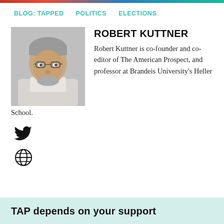BLOG: TAPPED   POLITICS   ELECTIONS
[Figure (photo): Headshot of Robert Kuttner, an older man with glasses and grey hair, wearing a light-colored shirt.]
ROBERT KUTTNER
Robert Kuttner is co-founder and co-editor of The American Prospect, and professor at Brandeis University's Heller School.
TAP depends on your support